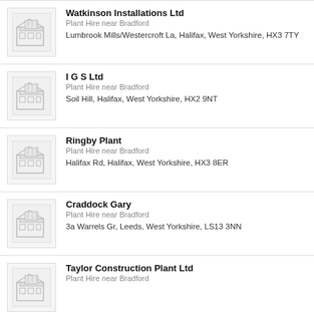[Figure (illustration): Generic building/office placeholder thumbnail for Watkinson Installations Ltd]
Watkinson Installations Ltd
Plant Hire near Bradford
Lumbrook Mills/Westercroft La, Halifax, West Yorkshire, HX3 7TY
[Figure (illustration): Generic building/office placeholder thumbnail for I G S Ltd]
I G S Ltd
Plant Hire near Bradford
Soil Hill, Halifax, West Yorkshire, HX2 9NT
[Figure (illustration): Generic building/office placeholder thumbnail for Ringby Plant]
Ringby Plant
Plant Hire near Bradford
Halifax Rd, Halifax, West Yorkshire, HX3 8ER
[Figure (illustration): Generic building/office placeholder thumbnail for Craddock Gary]
Craddock Gary
Plant Hire near Bradford
3a Warrels Gr, Leeds, West Yorkshire, LS13 3NN
[Figure (illustration): Generic building/office placeholder thumbnail for Taylor Construction Plant Ltd]
Taylor Construction Plant Ltd
Plant Hire near Bradford